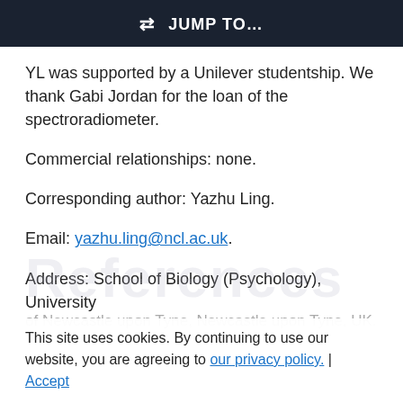JUMP TO…
YL was supported by a Unilever studentship. We thank Gabi Jordan for the loan of the spectroradiometer.
Commercial relationships: none.
Corresponding author: Yazhu Ling.
Email: yazhu.ling@ncl.ac.uk.
Address: School of Biology (Psychology), University of Newcastle upon Tyne, Newcastle upon Tyne, UK.
References
This site uses cookies. By continuing to use our website, you are agreeing to our privacy policy. Accept